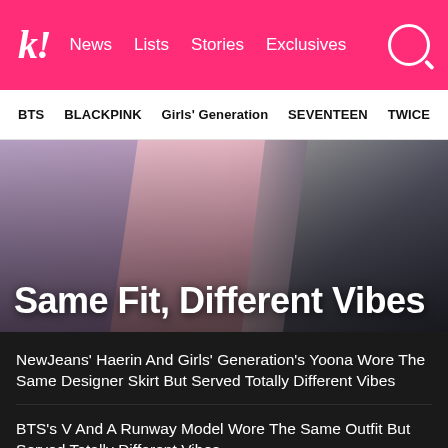k! News  Lists  Stories  Exclusives
BTS  BLACKPINK  Girls' Generation  SEVENTEEN  TWICE
[Figure (photo): Three K-pop celebrities (Haerin, Jennie, and V) photographed individually forming a collage hero image with title overlay 'Same Fit, Different Vibes']
Same Fit, Different Vibes
NewJeans' Haerin And Girls' Generation's Yoona Wore The Same Designer Skirt But Served Totally Different Vibes
BTS's V And A Runway Model Wore The Same Outfit But Served Totally Different Vibes
BLACKPINK's Jennie And Girls' Generation's Sooyoung Wore The Same Dress But Served Totally Different Vibes